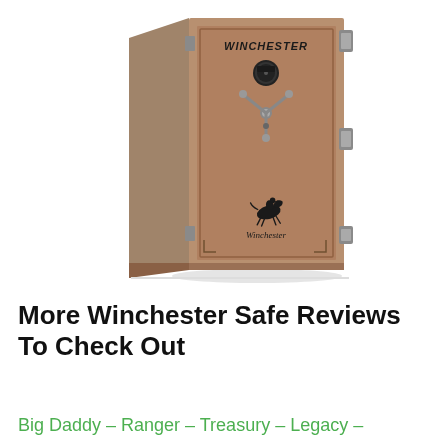[Figure (photo): A Winchester gun safe in bronze/taupe color, tall rectangular safe with a combination lock dial at top, triple-spoke handle/key lock mechanism in the middle, Winchester logo (rider on horseback) near the bottom, and side panel visible on the left. The safe has corner bolts/security pins visible.]
More Winchester Safe Reviews To Check Out
Big Daddy – Ranger – Treasury – Legacy –